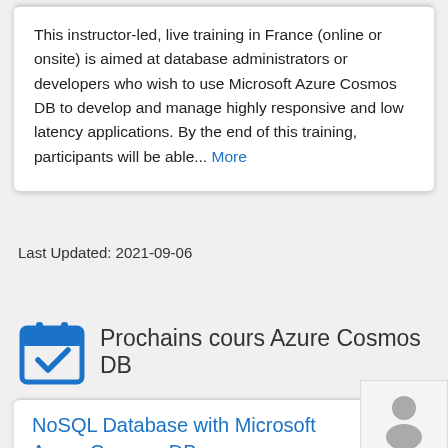This instructor-led, live training in France (online or onsite) is aimed at database administrators or developers who wish to use Microsoft Azure Cosmos DB to develop and manage highly responsive and low latency applications. By the end of this training, participants will be able... More
Last Updated: 2021-09-06
Prochains cours Azure Cosmos DB
NoSQL Database with Microsoft Azure Cosmos DB